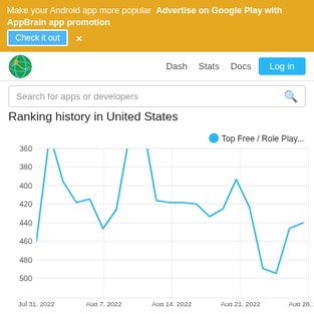Make your Android app more popular  Advertise on Google Play with AppBrain app promotion  Check it out  ×
Dash  Stats  Docs  Log in
Search for apps or developers
Ranking history in United States
[Figure (line-chart): Ranking history in United States]